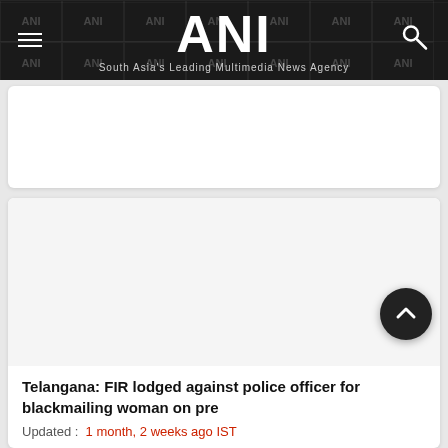ANI — South Asia's Leading Multimedia News Agency
[Figure (other): White rectangular advertisement placeholder card]
[Figure (other): Article image placeholder (grey area)]
Telangana: FIR lodged against police officer for blackmailing woman on pre
Updated :   1 month, 2 weeks ago IST
Nalgonda (Telangana) [India], July 10 (ANI): A case was registered